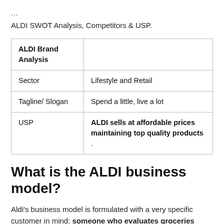...
ALDI SWOT Analysis, Competitors & USP.
| ALDI Brand Analysis |  |
| Sector | Lifestyle and Retail |
| Tagline/ Slogan | Spend a little, live a lot |
| USP | ALDI sells at affordable prices maintaining top quality products . |
What is the ALDI business model?
Aldi's business model is formulated with a very specific customer in mind: someone who evaluates groceries from a